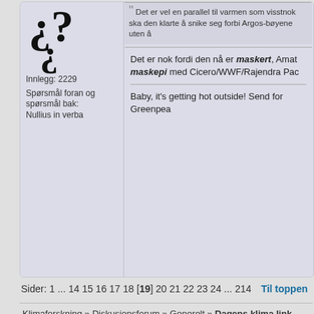[Figure (illustration): Large decorative question mark characters (¿??) in bold serif font, used as a forum user avatar placeholder]
Innlegg: 2229
Spørsmål foran og spørsmål bak:
Nullius in verba
Det er vel en parallel til varmen som visstnok ska den klarte å snike seg forbi Argos-bøyene uten å
Det er nok fordi den nå er maskert, Amat maskepi med Cicero/WWF/Rajendra Pac
Baby, it's getting hot outside! Send for Greenpeа
Sider: 1 ... 14 15 16 17 18 [19] 20 21 22 23 24 ... 214   Til toppen
Klimaforskning » Diskusjonsforum » Generelt » Dagens klima link
SMF 2.0.17 | SMF © 2016, Simple M
XHTML   RSS   WAP2